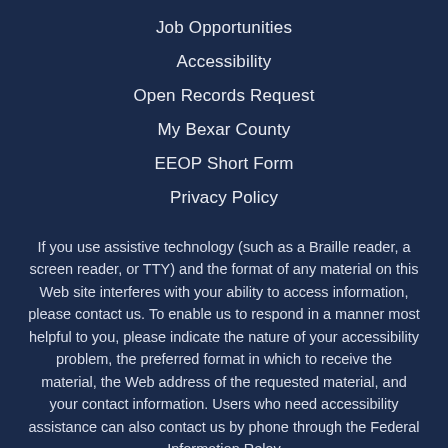Job Opportunities
Accessibility
Open Records Request
My Bexar County
EEOP Short Form
Privacy Policy
If you use assistive technology (such as a Braille reader, a screen reader, or TTY) and the format of any material on this Web site interferes with your ability to access information, please contact us. To enable us to respond in a manner most helpful to you, please indicate the nature of your accessibility problem, the preferred format in which to receive the material, the Web address of the requested material, and your contact information. Users who need accessibility assistance can also contact us by phone through the Federal Information Relay